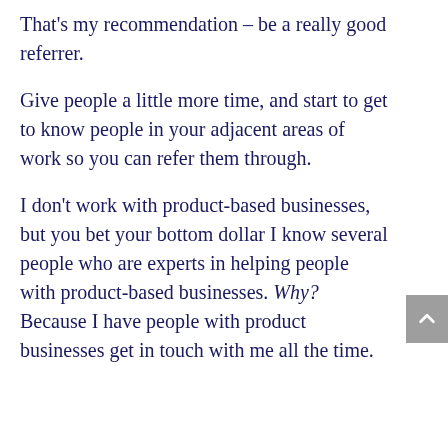That's my recommendation – be a really good referrer.
Give people a little more time, and start to get to know people in your adjacent areas of work so you can refer them through.
I don't work with product-based businesses, but you bet your bottom dollar I know several people who are experts in helping people with product-based businesses. Why? Because I have people with product businesses get in touch with me all the time.